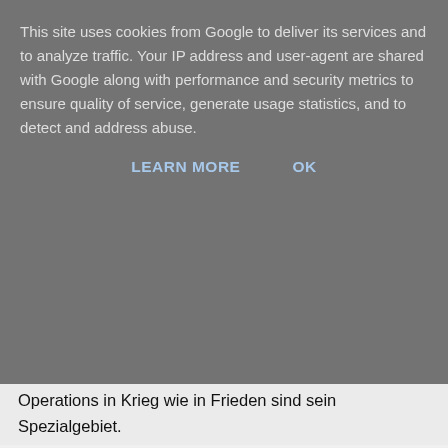This site uses cookies from Google to deliver its services and to analyze traffic. Your IP address and user-agent are shared with Google along with performance and security metrics to ensure quality of service, generate usage statistics, and to detect and address abuse.
LEARN MORE   OK
Operations in Krieg wie in Frieden sind sein Spezialgebiet.
2005-09-12
Warblogger Kevin Sites heuert bei Yahoo an
--- Bei CNN durfte Kevin Sites mit seinem persönlichen multimedialen Blog während des Irak-Kriegs nicht so ganz wie er wollte: der Sender sah in der Netzberichterstattung eine ungewollte Konkurrenz und untersagte Sites das Bloggen. Nun schlägt der Action-Reporter mitsamt dem Internet zurück: Er wird vom Ende des Monats an beim Online-Portal Yahoo News aus der Hot Zone verbreiten. Die